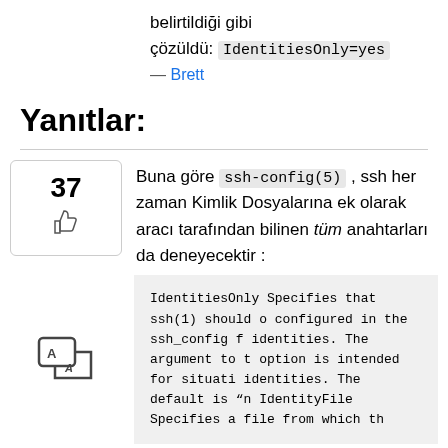belirtildiği gibi
çözüldü: IdentitiesOnly=yes
— Brett
Yanıtlar:
Buna göre ssh-config(5) , ssh her zaman Kimlik Dosyalarına ek olarak aracı tarafından bilinen tüm anahtarları da deneyecektir :
IdentitiesOnly
        Specifies that ssh(1) should o
        configured in the ssh_config f
        identities.  The argument to t
        option is intended for situati
        identities.  The default is "n

IdentityFile
        Specifies a file from which th